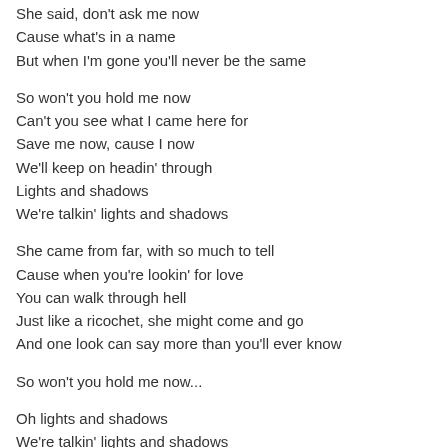She said, don't ask me now
Cause what's in a name
But when I'm gone you'll never be the same
So won't you hold me now
Can't you see what I came here for
Save me now, cause I now
We'll keep on headin' through
Lights and shadows
We're talkin' lights and shadows
She came from far, with so much to tell
Cause when you're lookin' for love
You can walk through hell
Just like a ricochet, she might come and go
And one look can say more than you'll ever know
So won't you hold me now...
Oh lights and shadows
We're talkin' lights and shadows
So won't you hold me now...